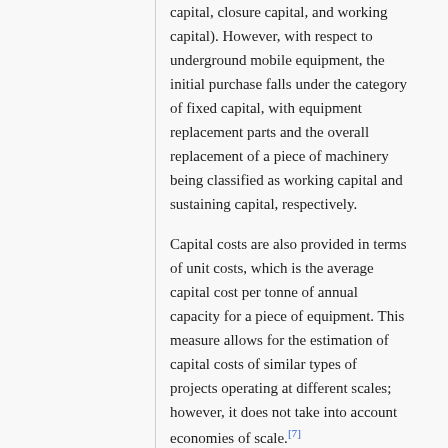capital, closure capital, and working capital). However, with respect to underground mobile equipment, the initial purchase falls under the category of fixed capital, with equipment replacement parts and the overall replacement of a piece of machinery being classified as working capital and sustaining capital, respectively.
Capital costs are also provided in terms of unit costs, which is the average capital cost per tonne of annual capacity for a piece of equipment. This measure allows for the estimation of capital costs of similar types of projects operating at different scales; however, it does not take into account economies of scale.[7]
Equipment salvage values should also be included in the cash flow model, as those values provide a more accurate and much more manageable capital cost forecast. Salvage values are estimated on the basis of the proportion of useful life remaining for the equipment, and may vary depending on the